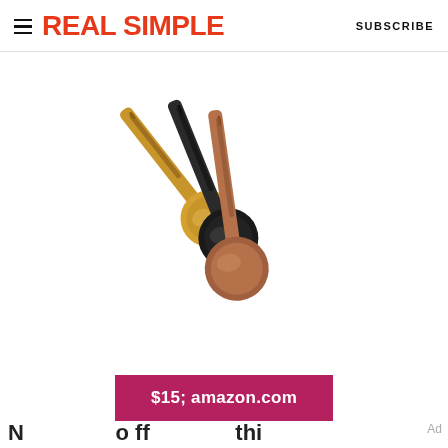REAL SIMPLE  SUBSCRIBE
[Figure (photo): Three coffee measuring spoons with bag clips in gold, black, and rose gold/copper colors, arranged overlapping diagonally on a white background.]
$15; amazon.com
N o  ...  o ff  ...  thi ...